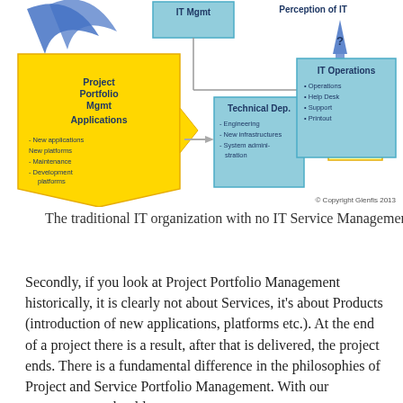[Figure (flowchart): Diagram showing traditional IT organization: Project Portfolio Mgmt Applications (yellow arrow shape) with items New applications, New platforms, Maintenance, Development platforms; arrows to Technical Dep. box (Engineering, New infrastructures, System administration) and IT Operations box (Operations, Help Desk, Support, Printout); IT Mgmt box at top center; Perception of IT label top right with blue arrow and question mark; Project finished box in center. Copyright Glenfis 2013.]
The traditional IT organization with no IT Service Management
Secondly, if you look at Project Portfolio Management historically, it is clearly not about Services, it's about Products (introduction of new applications, platforms etc.). At the end of a project there is a result, after that is delivered, the project ends. There is a fundamental difference in the philosophies of Project and Service Portfolio Management. With our customers we should